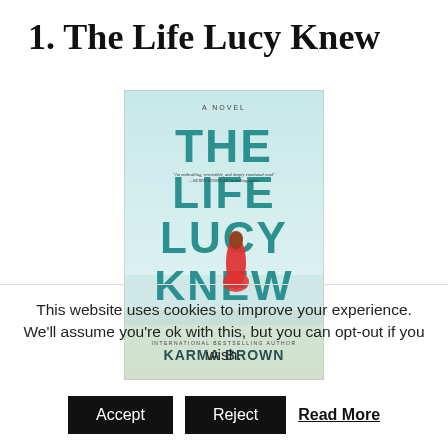1. The Life Lucy Knew
[Figure (illustration): Book cover of 'The Life Lucy Knew' by Karma Brown. Features large teal/turquoise text on a light blue-green background. A woman in a red dress is shown from behind. Text reads 'A NOVEL' at top, 'THE LIFE LUCY KNEW' as main title, 'INTERNATIONAL BESTSELLING AUTHOR KARMA BROWN' at bottom. A quote is shown in smaller text.]
This website uses cookies to improve your experience. We'll assume you're ok with this, but you can opt-out if you wish.
Accept   Reject   Read More